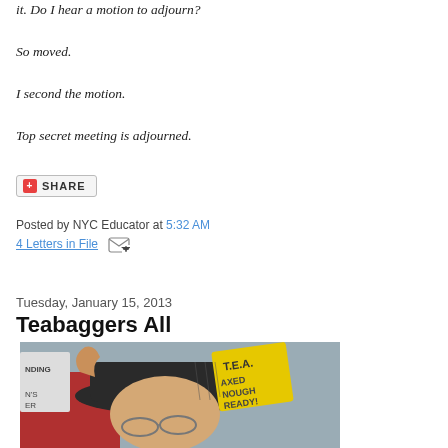it. Do I hear a motion to adjourn?
So moved.
I second the motion.
Top secret meeting is adjourned.
[Figure (screenshot): Share button with red plus icon and 'SHARE' text]
Posted by NYC Educator at 5:32 AM
4 Letters in File [email icon]
Tuesday, January 15, 2013
Teabaggers All
[Figure (photo): Person wearing a dark hat with a yellow T.E.A. (Taxed Enough Already) sign, at a Tea Party rally]